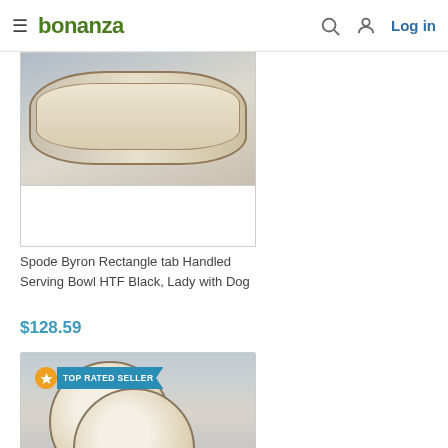bonanza | Log in
[Figure (photo): Spode Byron Rectangle tab Handled Serving Bowl - partial product photo showing the bowl against a blue-grey background]
Spode Byron Rectangle tab Handled Serving Bowl HTF Black, Lady with Dog
$128.59
[Figure (photo): Two decorative brown and white ceramic plates with pastoral scenes, labeled TOP RATED SELLER, displayed on a light blue background]